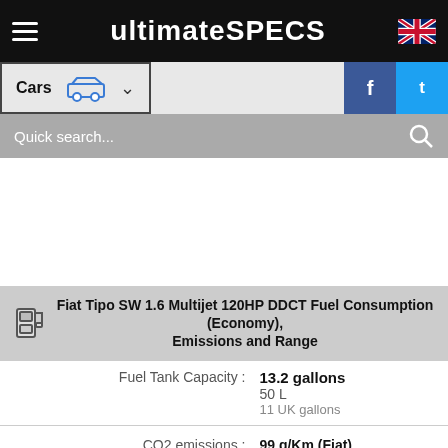ultimateSPECS
Cars
Quick search...
Fiat Tipo SW 1.6 Multijet 120HP DDCT Fuel Consumption (Economy), Emissions and Range
| Label | Value |
| --- | --- |
| Fuel Tank Capacity : | 13.2 gallons
50 L
11 UK gallons |
| CO2 emissions : | 99 g/Km (Fiat) |